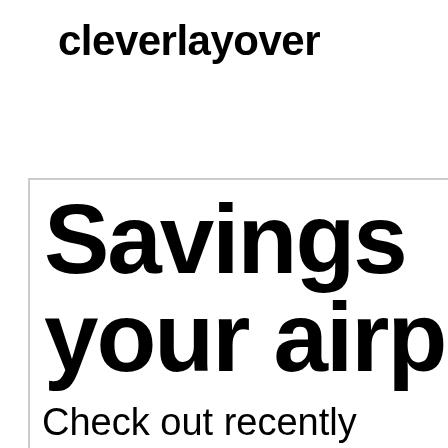cleverlayover
Savings your airp
Check out recently savings to these q